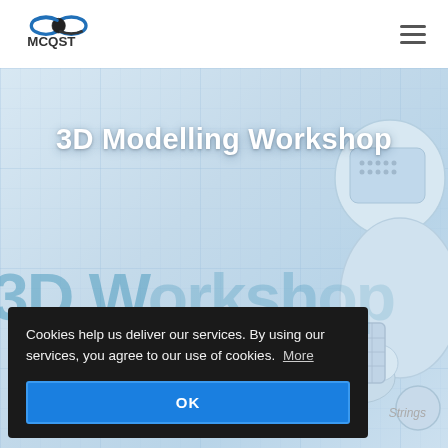[Figure (logo): MCQST logo with infinity/figure-eight symbol in blue and dark colors, with 'MCQST' text below]
[Figure (screenshot): Website hero section with light blue grid background and 3D robot illustration on the right side]
3D Modelling Workshop
3D Workshop (large background text, partially visible)
Strings
Cookies help us deliver our services. By using our services, you agree to our use of cookies. More
OK